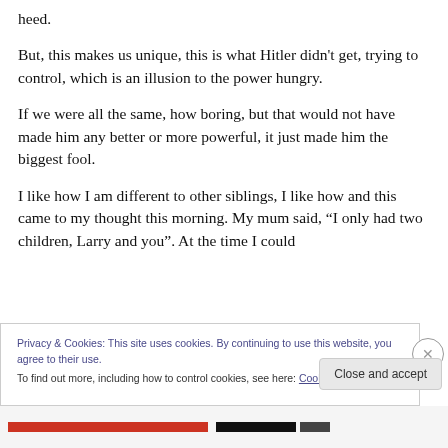heed.
But, this makes us unique, this is what Hitler didn’t get, trying to control, which is an illusion to the power hungry.
If we were all the same, how boring, but that would not have made him any better or more powerful, it just made him the biggest fool.
I like how I am different to other siblings, I like how and this came to my thought this morning. My mum said, “I only had two children, Larry and you”. At the time I could
Privacy & Cookies: This site uses cookies. By continuing to use this website, you agree to their use.
To find out more, including how to control cookies, see here: Cookie Policy